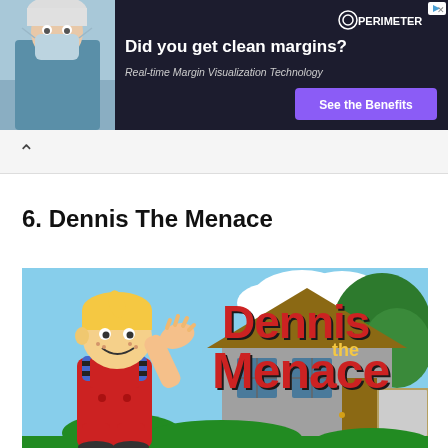[Figure (other): Advertisement banner: doctor in surgical mask, headline 'Did you get clean margins?', subtext 'Real-time Margin Visualization Technology', Perimeter logo, 'See the Benefits' purple button]
6. Dennis The Menace
[Figure (illustration): Dennis the Menace cartoon illustration showing Dennis character in red overalls and striped shirt with blonde hair, gesturing with hand, next to large 'Dennis the Menace' logo text in red/yellow/black, with a suburban house and tree in background]